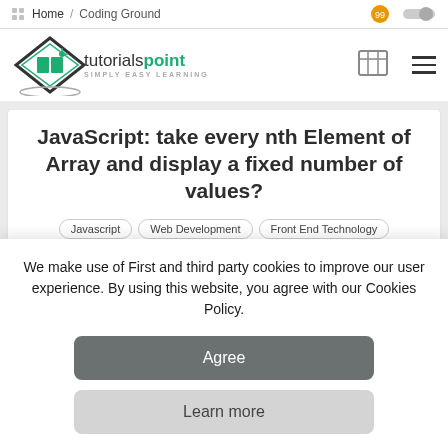Home / Coding Ground
[Figure (logo): tutorialspoint logo - diamond shape with book icon, text 'tutorialspoint SIMPLY EASY LEARNING']
JavaScript: take every nth Element of Array and display a fixed number of values?
Javascript
Web Development
Front End Technology
Object Oriented
Programming
We make use of First and third party cookies to improve our user experience. By using this website, you agree with our Cookies Policy.
Agree
Learn more